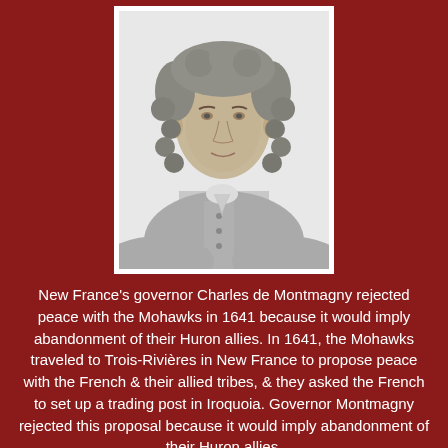[Figure (photo): Black and white portrait of Charles de Montmagny, a man wearing a curly wig and period clothing with buttons down the front, set against a white background with a white border.]
New France's governor Charles de Montmagny rejected peace with the Mohawks in 1641 because it would imply abandonment of their Huron allies. In 1641, the Mohawks traveled to Trois-Rivières in New France to propose peace with the French & their allied tribes, & they asked the French to set up a trading post in Iroquoia. Governor Montmagny rejected this proposal because it would imply abandonment of their Huron allies.
In the early 1640s, the war began in earnest with Iroquois attacks on frontier Huron villages along the St. Lawrence River in order to disrupt the trade with the French. In 1645,